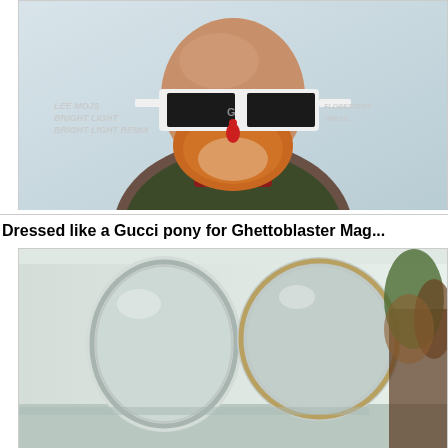[Figure (photo): A bald man with a reddish-orange beard wearing futuristic white angular Gucci-style sunglasses with dark lenses and a red teardrop ornament, wearing a dark green and red sweater. Background has overlaid italic text reading 'BRIGHT LIGHT BRIGHT LIGHT REMIX'. Photo appears cropped from an album artwork or editorial shoot.]
Dressed like a Gucci pony for Ghettoblaster Mag...
[Figure (photo): Interior room scene with two large round mirrors on a wall — one oval/circular framed in silver on the left, and one circular framed in gold on the right. Colorful foliage or decor visible on the right side. Light, airy room with white walls and ceiling.]